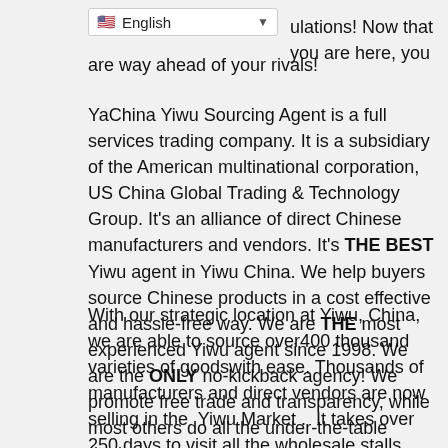[Figure (screenshot): Language selector dropdown showing US flag and 'English' with dropdown arrow]
ulations! Now that you are here, you are way ahead of your rivals!
YaChina Yiwu Sourcing Agent is a full services trading company. It is a subsidiary of the American multinational corporation, US China Global Trading & Technology Group. It's an alliance of direct Chinese manufacturers and vendors. It's THE BEST Yiwu agent in Yiwu China. We help buyers source Chinese products in a cost effective and hassle-free way. We are THE most experienced Yiwu agent since 1998. We are the ONLY no-kickback agency! We promote free trade and transparency, while most others do all the under-the-table deals.
With our strategic location at Yiwu, China, we are able to source over400 thousand varieties of goodswith ease. Thousands of manufacturers and direct vendors are now selling in the  Yiwu Market .  It takes over 250 days to visit all the wholesale stalls, with only 1 minute stay at each stall. You'll find many of products from the market in super stores such as Wal-mart around the world.